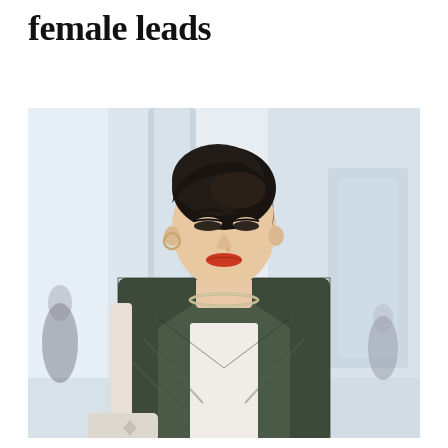female leads
[Figure (photo): A young Asian woman with dark hair pulled back, wearing a green plaid blazer over a white top, a silver choker necklace, and hoop earrings. She holds a white handbag and looks downward. The background shows a bright, blurred interior space with columns and other people out of focus.]